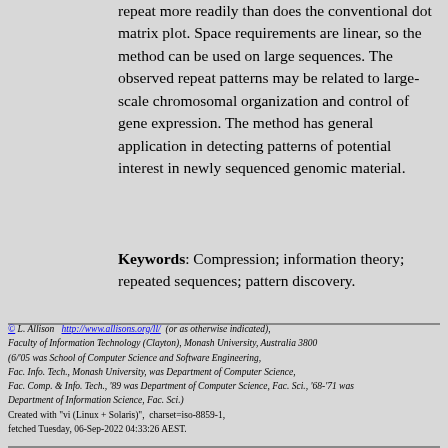repeat more readily than does the conventional dot matrix plot. Space requirements are linear, so the method can be used on large sequences. The observed repeat patterns may be related to large-scale chromosomal organization and control of gene expression. The method has general application in detecting patterns of potential interest in newly sequenced genomic material.
Keywords: Compression; information theory; repeated sequences; pattern discovery.
© L. Allison   http://www.allisons.org/ll/  (or as otherwise indicated), Faculty of Information Technology (Clayton), Monash University, Australia 3800 (6/'05 was School of Computer Science and Software Engineering, Fac. Info. Tech., Monash University, was Department of Computer Science, Fac. Comp. & Info. Tech., '89 was Department of Computer Science, Fac. Sci., '68-'71 was Department of Information Science, Fac. Sci.) Created with "vi (Linux + Solaris)",  charset=iso-8859-1, fetched Tuesday, 06-Sep-2022 04:33:26 AEST.